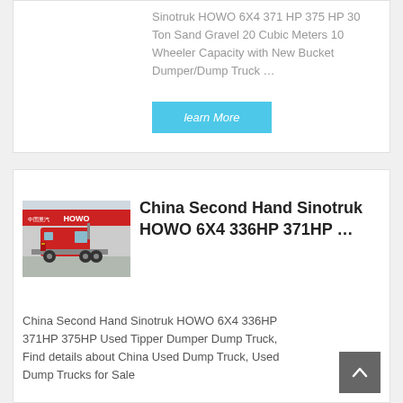Sinotruk HOWO 6X4 371 HP 375 HP 30 Ton Sand Gravel 20 Cubic Meters 10 Wheeler Capacity with New Bucket Dumper/Dump Truck …
learn More
[Figure (photo): Red HOWO truck (tractor unit) parked in front of a dealership with Chinese signage and HOWO logo]
China Second Hand Sinotruk HOWO 6X4 336HP 371HP …
China Second Hand Sinotruk HOWO 6X4 336HP 371HP 375HP Used Tipper Dumper Dump Truck, Find details about China Used Dump Truck, Used Dump Trucks for Sale